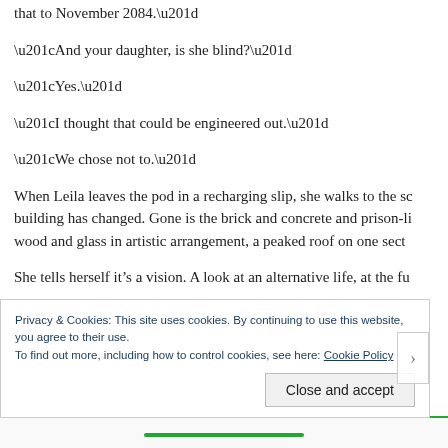“We don’t think in years anymore. It’s the fourth quadrant. But map that to November 2084.”
“And your daughter, is she blind?”
“Yes.”
“I thought that could be engineered out.”
“We chose not to.”
When Leila leaves the pod in a recharging slip, she walks to the sc building has changed. Gone is the brick and concrete and prison-li wood and glass in artistic arrangement, a peaked roof on one sect
She tells herself it’s a vision. A look at an alternative life, at the fu
Privacy & Cookies: This site uses cookies. By continuing to use this website, you agree to their use.
To find out more, including how to control cookies, see here: Cookie Policy
Close and accept